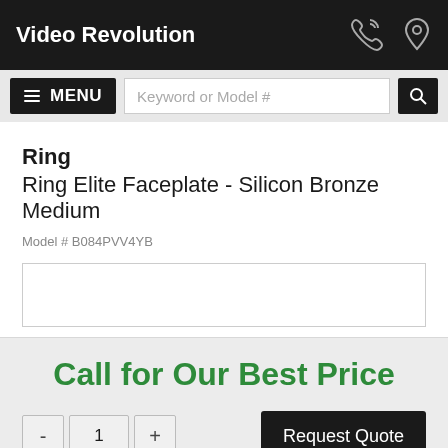Video Revolution
MENU  Keyword or Model #
Ring
Ring Elite Faceplate - Silicon Bronze Medium
Model # B084PVV4YB
[Figure (other): Empty product image placeholder box]
Call for Our Best Price
- 1 +  Request Quote